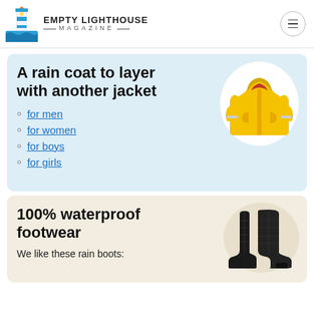Empty Lighthouse Magazine
A rain coat to layer with another jacket
for men
for women
for boys
for girls
[Figure (photo): Yellow children's rain jacket with reflective strips and a red hood lining]
100% waterproof footwear
We like these rain boots:
[Figure (photo): Pair of black quilted rain boots]